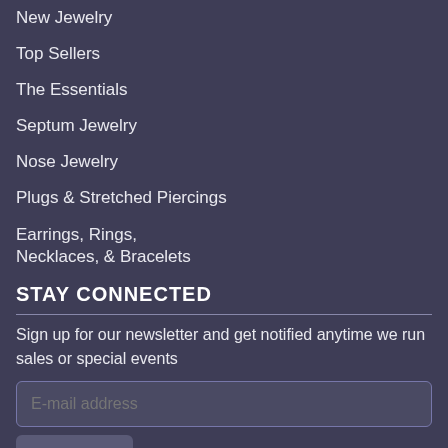New Jewelry
Top Sellers
The Essentials
Septum Jewelry
Nose Jewelry
Plugs & Stretched Piercings
Earrings, Rings, Necklaces, & Bracelets
STAY CONNECTED
Sign up for our newsletter and get notified anytime we run sales or special events
E-mail address
Sign Up!